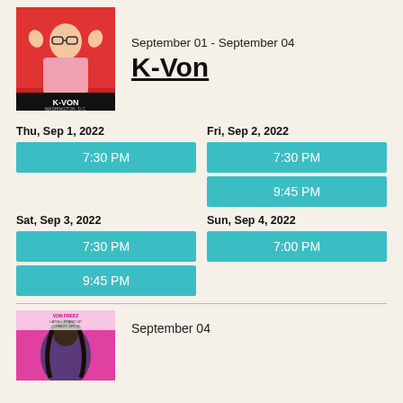[Figure (photo): K-Von promotional photo with red background, performer making gesture with hands near face, name K-VON at bottom]
September 01 - September 04
K-Von
Thu, Sep 1, 2022
7:30 PM
Fri, Sep 2, 2022
7:30 PM
9:45 PM
Sat, Sep 3, 2022
7:30 PM
9:45 PM
Sun, Sep 4, 2022
7:00 PM
[Figure (photo): Von Freez promotional photo with pink background, performer with long hair, show title text overlay]
September 04